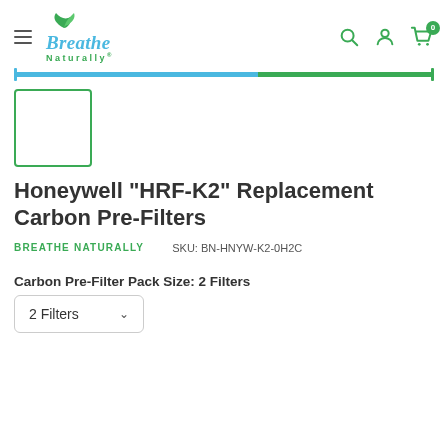Breathe Naturally — navigation header with search, account, and cart icons
[Figure (illustration): Product image placeholder — green-bordered empty white square]
Honeywell "HRF-K2" Replacement Carbon Pre-Filters
BREATHE NATURALLY   SKU: BN-HNYW-K2-0H2C
Carbon Pre-Filter Pack Size:  2 Filters
2 Filters  ▾